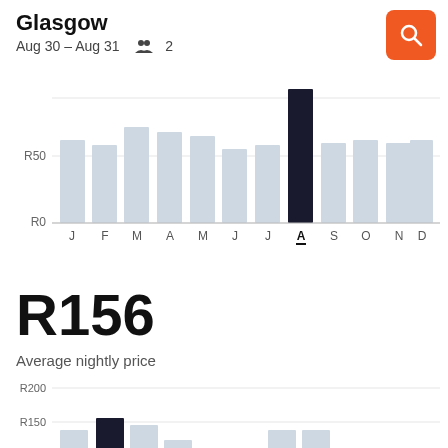Glasgow
Aug 30 – Aug 31  👥 2
[Figure (bar-chart): Monthly price chart (upper)]
R156
Average nightly price
[Figure (bar-chart): Monthly price chart (lower)]